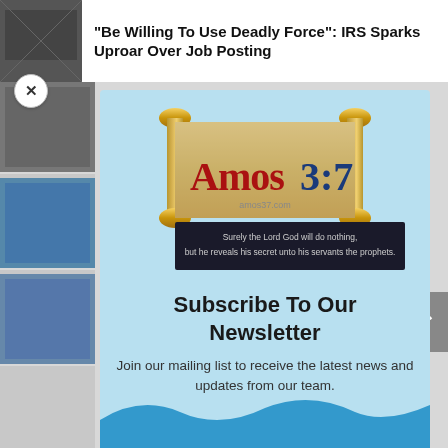“Be Willing To Use Deadly Force”: IRS Sparks Uproar Over Job Posting
[Figure (logo): Amos 3:7 website logo showing a scroll with the text 'Amos 3:7' in red and blue, with a dark banner reading 'Surely the Lord God will do nothing, but he reveals his secret unto his servants the prophets.' and the URL amos37.com]
Subscribe To Our Newsletter
Join our mailing list to receive the latest news and updates from our team.